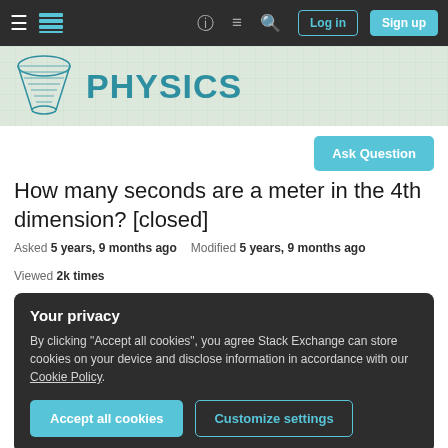Stack Exchange Physics — navigation bar with Log in and Sign up buttons
[Figure (logo): Physics Stack Exchange site header with cone/funnel logo and PHYSICS text in teal]
Ask Question
How many seconds are a meter in the 4th dimension? [closed]
Asked 5 years, 9 months ago   Modified 5 years, 9 months ago   Viewed 2k times
Your privacy
By clicking "Accept all cookies", you agree Stack Exchange can store cookies on your device and disclose information in accordance with our Cookie Policy.
Accept all cookies   Customize settings
Closed 5 years ago.